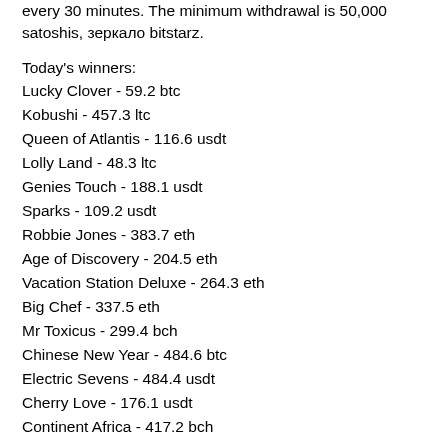every 30 minutes. The minimum withdrawal is 50,000 satoshis, зеркало bitstarz.
Today's winners:
Lucky Clover - 59.2 btc
Kobushi - 457.3 ltc
Queen of Atlantis - 116.6 usdt
Lolly Land - 48.3 ltc
Genies Touch - 188.1 usdt
Sparks - 109.2 usdt
Robbie Jones - 383.7 eth
Age of Discovery - 204.5 eth
Vacation Station Deluxe - 264.3 eth
Big Chef - 337.5 eth
Mr Toxicus - 299.4 bch
Chinese New Year - 484.6 btc
Electric Sevens - 484.4 usdt
Cherry Love - 176.1 usdt
Continent Africa - 417.2 bch